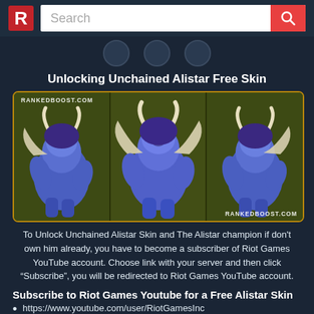Search
Unlocking Unchained Alistar Free Skin
[Figure (screenshot): Three views of the Unchained Alistar skin in-game showing a blue minotaur character from left, front, and right angles. Watermark 'RANKEDBOOST.COM' appears top-left and bottom-right.]
To Unlock Unchained Alistar Skin and The Alistar champion if don't own him already, you have to become a subscriber of Riot Games YouTube account. Choose link with your server and then click “Subscribe”, you will be redirected to Riot Games YouTube account.
Subscribe to Riot Games Youtube for a Free Alistar Skin
https://www.youtube.com/user/RiotGamesInc